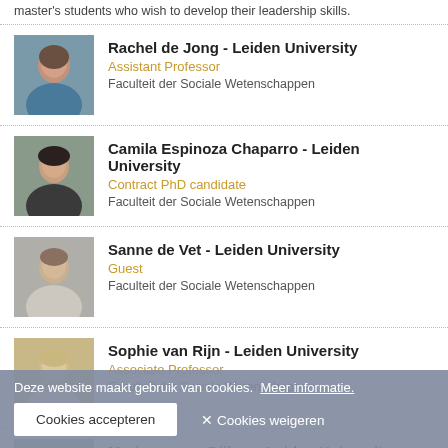master's students who wish to develop their leadership skills.
Rachel de Jong - Leiden University
Assistant Professor
Faculteit der Sociale Wetenschappen
Camila Espinoza Chaparro - Leiden University
Contract PhD candidate
Faculteit der Sociale Wetenschappen
Sanne de Vet - Leiden University
Guest
Faculteit der Sociale Wetenschappen
Sophie van Rijn - Leiden University
Associate Professor
Faculteit der Sociale Wetenschappen
Marianne van Dijken - Leiden University
Assistant professor
Faculteit der Sociale Wetenschappen
Deze website maakt gebruik van cookies. Meer informatie.
Cookies accepteren  ✕ Cookies weigeren